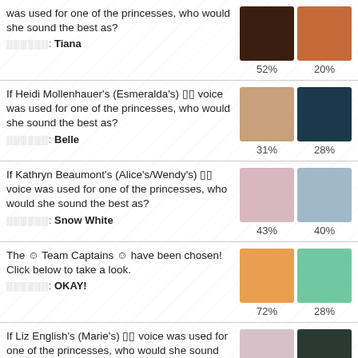was used for one of the princesses, who would she sound the best as? ░░░░░░: Tiana | 52% 20%
If Heidi Mollenhauer's (Esmeralda's) ░░ voice was used for one of the princesses, who would she sound the best as? ░░░░░░: Belle | 31% 28%
If Kathryn Beaumont's (Alice's/Wendy's) ░░ voice was used for one of the princesses, who would she sound the best as? ░░░░░░: Snow White | 43% 40%
The ☺ Team Captains ☺ have been chosen! Click below to take a look. ░░░░░░: OKAY! | 72% 28%
If Liz English's (Marie's) ░░ voice was used for one of the princesses, who would she sound the best as?